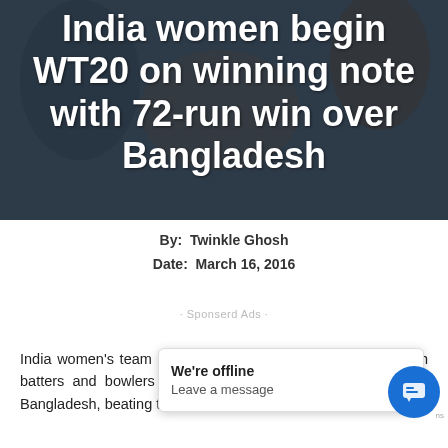[Figure (photo): Hero image showing cricket players with dark overlay, serving as background for article headline about India women's WT20 win over Bangladesh]
India women begin WT20 on winning note with 72-run win over Bangladesh
By:  Twinkle Ghosh
Date:  March 16, 2016
· Sponserd Ads ·
India women's team captain Mithali Raj on Tuesday said both batters and bowlers helped the team to turn the tables on Bangladesh, beating them in the opening match of the World ___s.
We're offline
Leave a message